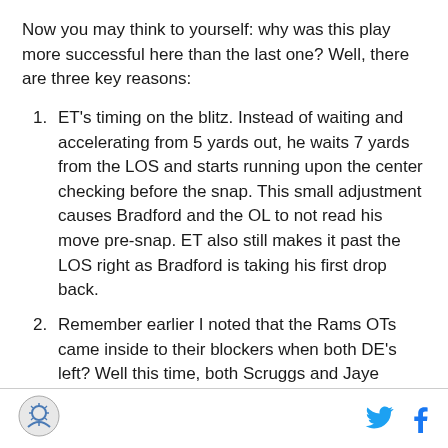Now you may think to yourself: why was this play more successful here than the last one? Well, there are three key reasons:
ET's timing on the blitz. Instead of waiting and accelerating from 5 yards out, he waits 7 yards from the LOS and starts running upon the center checking before the snap. This small adjustment causes Bradford and the OL to not read his move pre-snap. ET also still makes it past the LOS right as Bradford is taking his first drop back.
Remember earlier I noted that the Rams OTs came inside to their blockers when both DE's left? Well this time, both Scruggs and Jaye Howard rushed